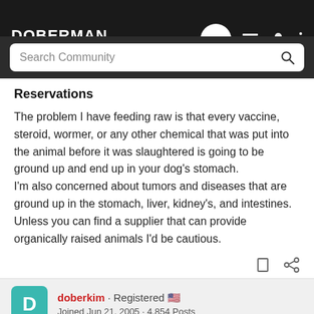DOBERMAN talk — navigation bar with search
Reservations
The problem I have feeding raw is that every vaccine, steroid, wormer, or any other chemical that was put into the animal before it was slaughtered is going to be ground up and end up in your dog's stomach.
I'm also concerned about tumors and diseases that are ground up in the stomach, liver, kidney's, and intestines. Unless you can find a supplier that can provide organically raised animals I'd be cautious.
doberkim · Registered 🇺🇸
Joined Jun 21, 2005 · 4,854 Posts